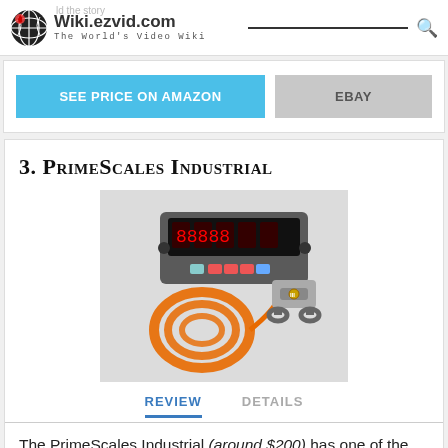Wiki.ezvid.com — The World's Video Wiki
SEE PRICE ON AMAZON | EBAY
3. PrimeScales Industrial
[Figure (photo): Product photo of PrimeScales Industrial showing a digital weight indicator with colorful buttons, an orange coiled cable, and an S-type load cell with shackles]
REVIEW    DETAILS
The PrimeScales Industrial (around $200) has one of the largest faces on the market, and its